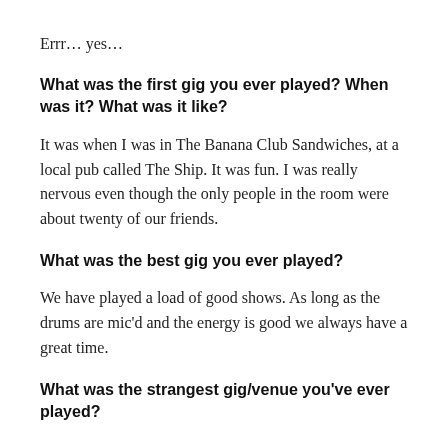Errr… yes…
What was the first gig you ever played? When was it? What was it like?
It was when I was in The Banana Club Sandwiches, at a local pub called The Ship. It was fun. I was really nervous even though the only people in the room were about twenty of our friends.
What was the best gig you ever played?
We have played a load of good shows. As long as the drums are mic'd and the energy is good we always have a great time.
What was the strangest gig/venue you've ever played?